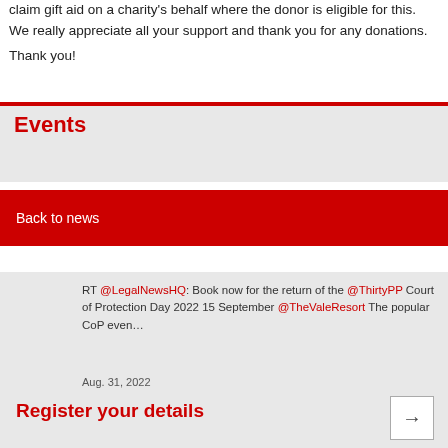claim gift aid on a charity's behalf where the donor is eligible for this. We really appreciate all your support and thank you for any donations.
Thank you!
Events
Back to news
RT @LegalNewsHQ: Book now for the return of the @ThirtyPP Court of Protection Day 2022 15 September @TheValeResort The popular CoP even…
Aug. 31, 2022
Register your details